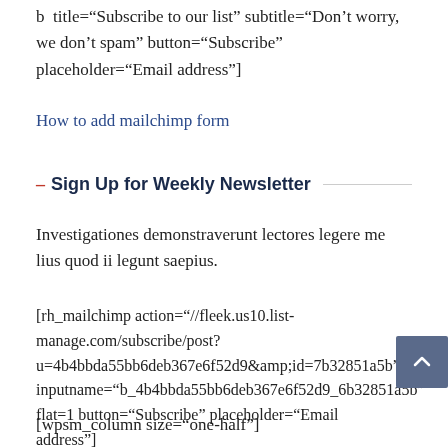b  title="Subscribe to our list"  subtitle="Don't worry, we don't spam" button="Subscribe" placeholder="Email address"]
How to add mailchimp form
– Sign Up for Weekly Newsletter
Investigationes demonstraverunt lectores legere me lius quod ii legunt saepius.
[rh_mailchimp action="//fleek.us10.list-manage.com/subscribe/post?u=4b4bbda55bb6deb367e6f52d9&amp;id=7b32851a5b" inputname="b_4b4bbda55bb6deb367e6f52d9_6b32851a5b" flat=1 button="Subscribe" placeholder="Email address"]
[wpsm_column size="one-half"]